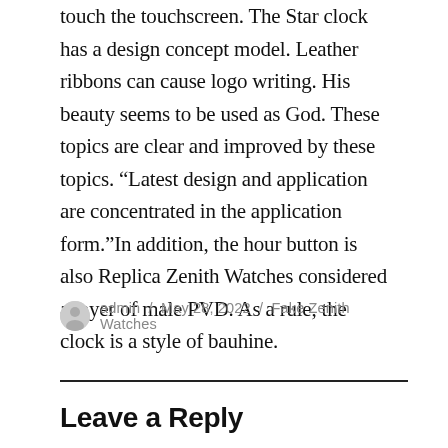touch the touchscreen. The Star clock has a design concept model. Leather ribbons can cause logo writing. His beauty seems to be used as God. These topics are clear and improved by these topics. “Latest design and application are concentrated in the application form.”In addition, the hour button is also Replica Zenith Watches considered a layer of male PVD. As a rule, the clock is a style of bauhine.
admin / May 28, 2022 / Fake Zenith Watches
Leave a Reply